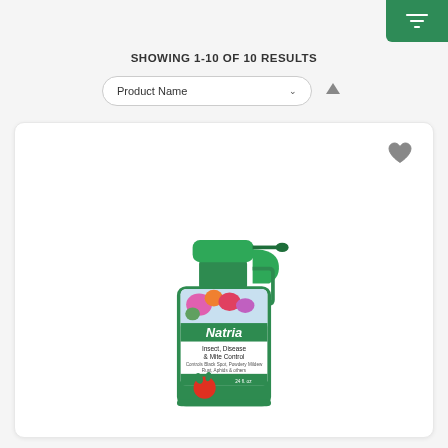[Figure (screenshot): Green filter/sort icon button in top right corner on green background]
SHOWING 1-10 OF 10 RESULTS
Product Name
[Figure (photo): Natria Insect, Disease & Mite Control spray bottle product card with heart/favorite icon]